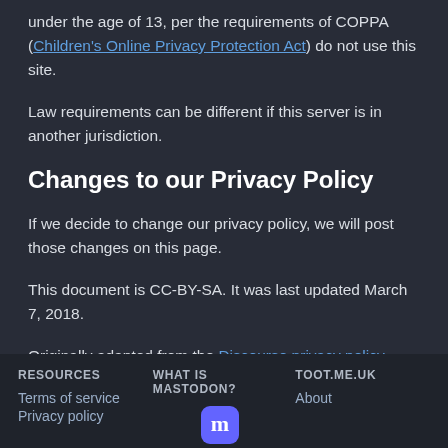under the age of 13, per the requirements of COPPA (Children's Online Privacy Protection Act) do not use this site.
Law requirements can be different if this server is in another jurisdiction.
Changes to our Privacy Policy
If we decide to change our privacy policy, we will post those changes on this page.
This document is CC-BY-SA. It was last updated March 7, 2018.
Originally adapted from the Discourse privacy policy.
RESOURCES | WHAT IS MASTODON? | TOOT.ME.UK | Terms of service | Privacy policy | About